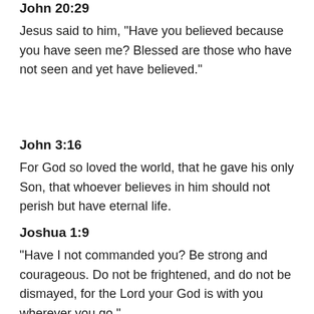John 20:29
Jesus said to him, “Have you believed because you have seen me? Blessed are those who have not seen and yet have believed.”
John 3:16
For God so loved the world, that he gave his only Son, that whoever believes in him should not perish but have eternal life.
Joshua 1:9
“Have I not commanded you? Be strong and courageous. Do not be frightened, and do not be dismayed, for the Lord your God is with you wherever you go.”